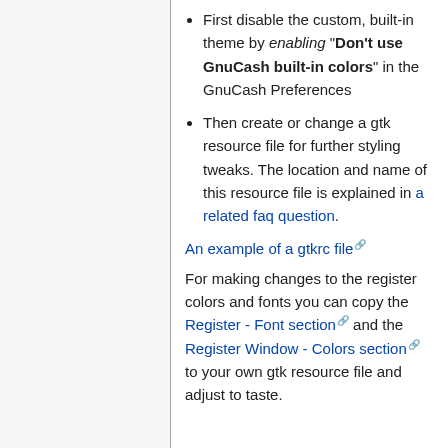First disable the custom, built-in theme by enabling "Don't use GnuCash built-in colors" in the GnuCash Preferences
Then create or change a gtk resource file for further styling tweaks. The location and name of this resource file is explained in a related faq question.
An example of a gtkrc file [external link]
For making changes to the register colors and fonts you can copy the Register - Font section and the Register Window - Colors section to your own gtk resource file and adjust to taste.